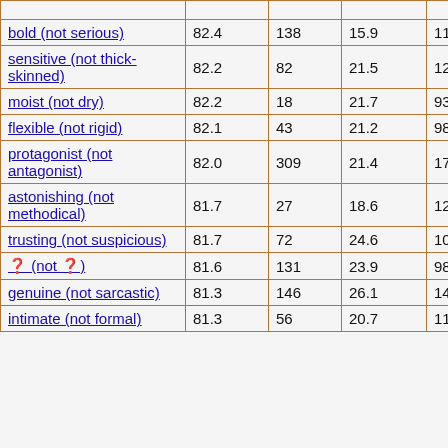|  |  |  |  |  |
| --- | --- | --- | --- | --- |
|  |  |  |  |  |
| bold (not serious) | 82.4 | 138 | 15.9 | 117 |
| sensitive (not thick-skinned) | 82.2 | 82 | 21.5 | 123 |
| moist (not dry) | 82.2 | 18 | 21.7 | 93 |
| flexible (not rigid) | 82.1 | 43 | 21.2 | 98 |
| protagonist (not antagonist) | 82.0 | 309 | 21.4 | 170 |
| astonishing (not methodical) | 81.7 | 27 | 18.6 | 129 |
| trusting (not suspicious) | 81.7 | 72 | 24.6 | 105 |
| ? (not ?) | 81.6 | 131 | 23.9 | 98 |
| genuine (not sarcastic) | 81.3 | 146 | 26.1 | 146 |
| intimate (not formal) | 81.3 | 56 | 20.7 | 112 |